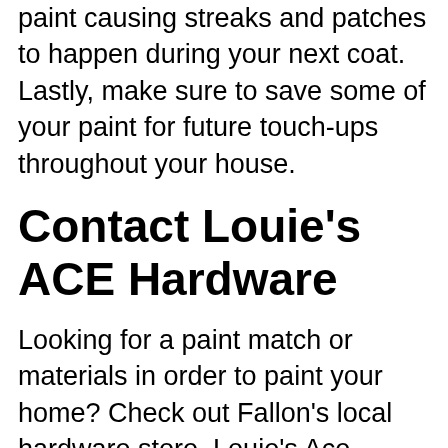paint causing streaks and patches to happen during your next coat. Lastly, make sure to save some of your paint for future touch-ups throughout your house.
Contact Louie's ACE Hardware
Looking for a paint match or materials in order to paint your home? Check out Fallon's local hardware store, Louie's Ace Hardware. We will have everything you need to get you started on your next project! We offer ACE hardware rentals such as paint sprayers and fixture sprayer rentals for your painting project.